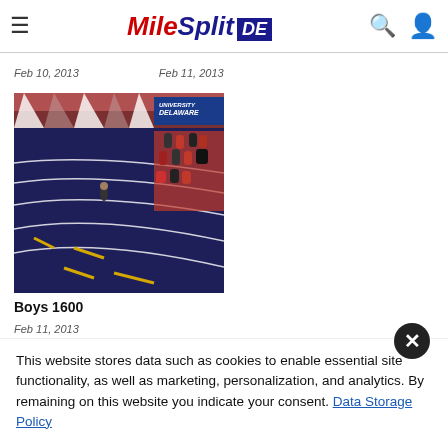MileSplit DE
Feb 10, 2013
Feb 11, 2013
[Figure (photo): Indoor track and field facility showing blue track lanes with white markings, spectators along the side, and a blue University of Delaware banner in the background.]
Boys 1600
Feb 11, 2013
This website stores data such as cookies to enable essential site functionality, as well as marketing, personalization, and analytics. By remaining on this website you indicate your consent. Data Storage Policy